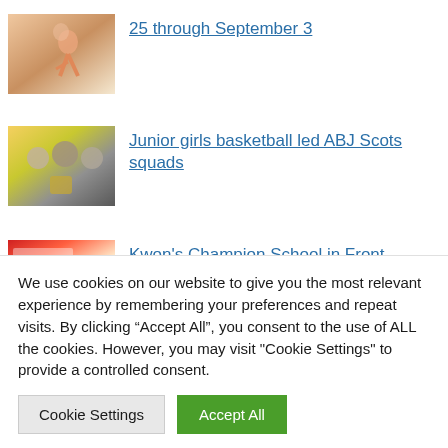[Figure (photo): Photo of a person jumping or playing a sport on sand/court]
25 through September 3
[Figure (photo): Photo of three people posing with a trophy, gold balloons in background]
Junior girls basketball led ABJ Scots squads
[Figure (photo): Partial photo with banner/poster visible, red colors]
Kwon’s Champion School in Front
We use cookies on our website to give you the most relevant experience by remembering your preferences and repeat visits. By clicking “Accept All”, you consent to the use of ALL the cookies. However, you may visit "Cookie Settings" to provide a controlled consent.